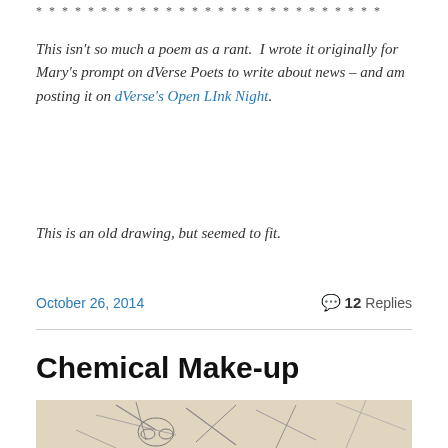* * * * * * * * * * * * * * * * * * * * * * * * * * *
This isn't so much a poem as a rant.  I wrote it originally for Mary's prompt on dVerse Poets to write about news – and am posting it on dVerse's Open LInk Night.
This is an old drawing, but seemed to fit.
October 26, 2014        💬 12 Replies
Chemical Make-up
[Figure (illustration): A pencil sketch drawing showing abstract figures with geometric and organic shapes, appearing to depict a character with goggles or glasses surrounded by angular lines and shapes.]